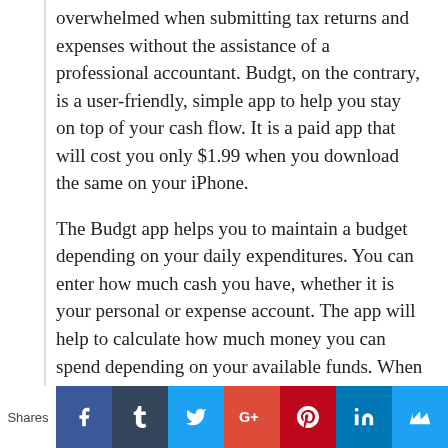overwhelmed when submitting tax returns and expenses without the assistance of a professional accountant. Budgt, on the contrary, is a user-friendly, simple app to help you stay on top of your cash flow. It is a paid app that will cost you only $1.99 when you download the same on your iPhone.
The Budgt app helps you to maintain a budget depending on your daily expenditures. You can enter how much cash you have, whether it is your personal or expense account. The app will help to calculate how much money you can spend depending on your available funds. When you shop, you must add the expenses to the apps so that Budgt can keep track of your bank balance.
Shares | Facebook | Tumblr | Twitter | Google+ | Pinterest | LinkedIn | Crown